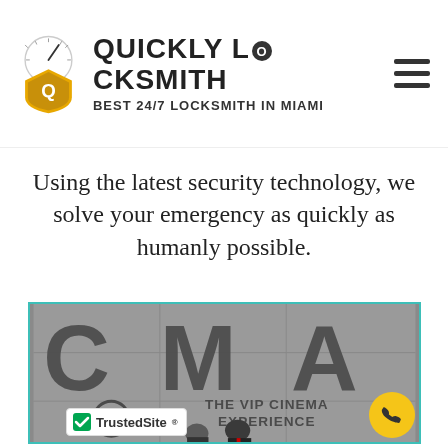[Figure (logo): Quickly Locksmith logo with shield icon, compass/gauge graphic, brand name 'QUICKLY LOCKSMITH' and tagline 'BEST 24/7 LOCKSMITH IN MIAMI', plus hamburger menu icon]
Using the latest security technology, we solve your emergency as quickly as humanly possible.
[Figure (photo): Photo at CMA - The VIP Cinema Experience sign, showing two men standing in front of a large CMA logo on a gray wall with 'THE VIP CINEMA EXPERIENCE' text]
[Figure (logo): TrustedSite badge with green checkmark]
[Figure (other): Yellow circular phone call button]